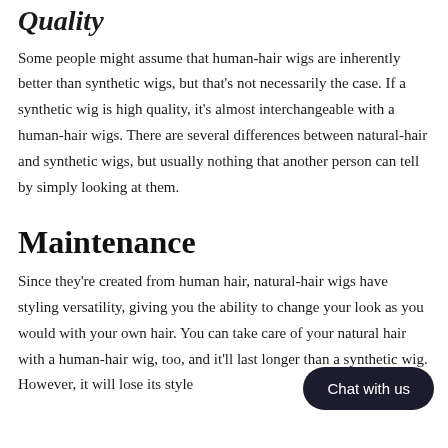Quality
Some people might assume that human-hair wigs are inherently better than synthetic wigs, but that's not necessarily the case. If a synthetic wig is high quality, it's almost interchangeable with a human-hair wigs. There are several differences between natural-hair and synthetic wigs, but usually nothing that another person can tell by simply looking at them.
Maintenance
Since they're created from human hair, natural-hair wigs have styling versatility, giving you the ability to change your look as you would with your own hair. You can take care of your natural hair with a human-hair wig, too, and it'll last longer than a synthetic wig. However, it will lose its style